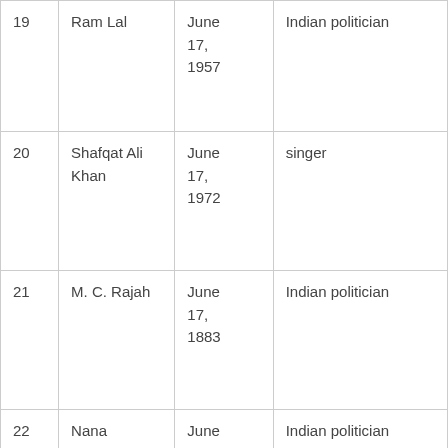| # | Name | Date | Description |
| --- | --- | --- | --- |
| 19 | Ram Lal | June 17, 1957 | Indian politician |
| 20 | Shafqat Ali Khan | June 17, 1972 | singer |
| 21 | M. C. Rajah | June 17, 1883 | Indian politician |
| 22 | Nana Chudasama | June 17, 1933 | Indian politician |
| 23 | Divya Padmini | June 17, | actress |